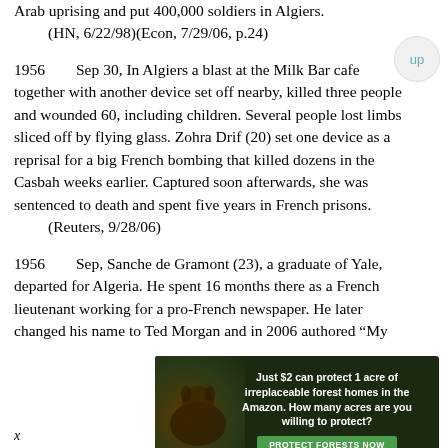Arab uprising and put 400,000 soldiers in Algiers.
    (HN, 6/22/98)(Econ, 7/29/06, p.24)
1956        Sep 30, In Algiers a blast at the Milk Bar cafe together with another device set off nearby, killed three people and wounded 60, including children. Several people lost limbs sliced off by flying glass. Zohra Drif (20) set one device as a reprisal for a big French bombing that killed dozens in the Casbah weeks earlier. Captured soon afterwards, she was sentenced to death and spent five years in French prisons.
        (Reuters, 9/28/06)
1956        Sep, Sanche de Gramont (23), a graduate of Yale, departed for Algeria. He spent 16 months there as a French lieutenant working for a pro-French newspaper. He later changed his name to Ted Morgan and in 2006 authored “My
[Figure (infographic): Advertisement for forest protection charity. Dark green background with animal image on left. Text reads: 'Just $2 can protect 1 acre of irreplaceable forest homes in the Amazon. How many acres are you willing to protect?' Green button labeled 'PROTECT FORESTS NOW'.]
x